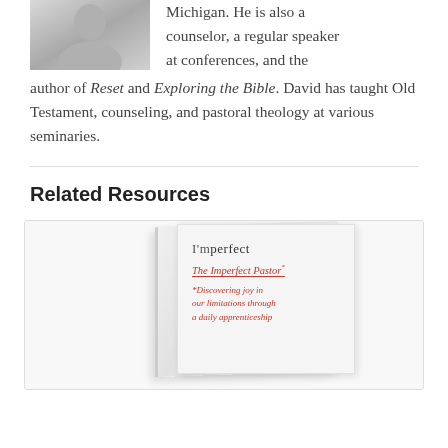[Figure (photo): Black and white photo of a man, cropped to show upper body, top-left of page]
Michigan. He is also a counselor, a regular speaker at conferences, and the author of Reset and Exploring the Bible. David has taught Old Testament, counseling, and pastoral theology at various seminaries.
Related Resources
[Figure (photo): Book cover image for 'Im perfect / The Imperfect Pastor' showing a light gray/white book with red italic handwritten subtitle text reading 'The Imperfect Pastor' underlined, and red cursive text below reading 'Discovering joy in our limitations through a daily apprenticeship']